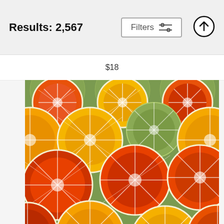Results: 2,567
Filters
$18
[Figure (illustration): Colorful citrus fruit slices pattern illustration showing oranges, grapefruits, and limes in orange, red, and green colors arranged in a repeating decorative pattern on a green background.]